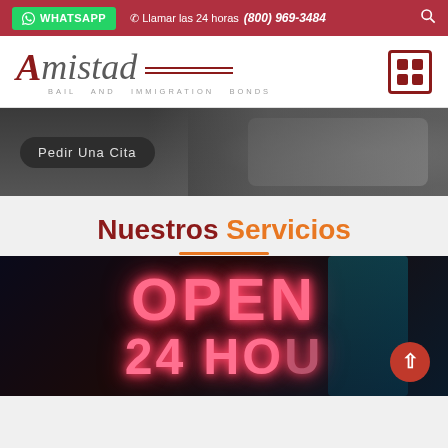WHATSAPP  Llamar las 24 horas (800) 969-3484
[Figure (logo): Amistad Bail and Immigration Bonds logo with decorative lines and grid icon]
[Figure (screenshot): Dark banner with rounded button labeled Pedir Una Cita]
Nuestros Servicios
[Figure (photo): Neon sign reading OPEN 24 HOURS in pink/red neon lights on dark background, with a red circular back-to-top arrow button]